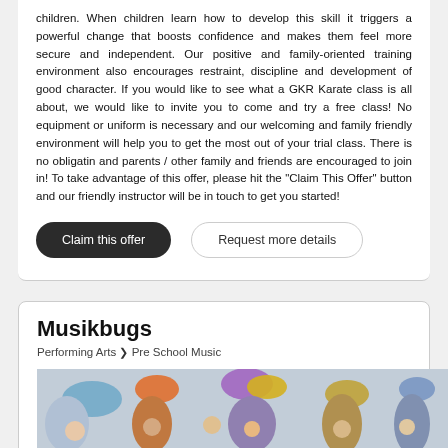children. When children learn how to develop this skill it triggers a powerful change that boosts confidence and makes them feel more secure and independent. Our positive and family-oriented training environment also encourages restraint, discipline and development of good character. If you would like to see what a GKR Karate class is all about, we would like to invite you to come and try a free class! No equipment or uniform is necessary and our welcoming and family friendly environment will help you to get the most out of your trial class. There is no obligatin and parents / other family and friends are encouraged to join in! To take advantage of this offer, please hit the "Claim This Offer" button and our friendly instructor will be in touch to get you started!
Claim this offer
Request more details
Musikbugs
Performing Arts > Pre School Music
[Figure (photo): Photo of children and adults in a music class waving colorful scarves]